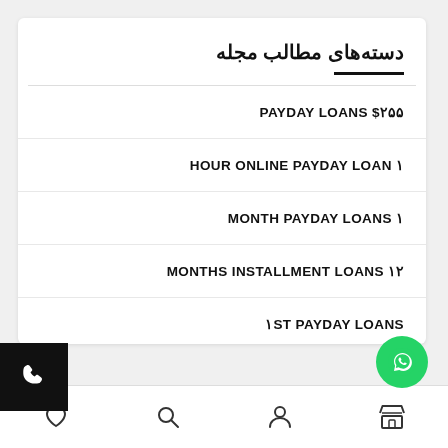دسته‌های مطالب مجله
PAYDAY LOANS $۲۵۵
HOUR ONLINE PAYDAY LOAN ۱
MONTH PAYDAY LOANS ۱
MONTHS INSTALLMENT LOANS ۱۲
۱ST PAYDAY LOANS
PAYDAY LOANS ۷